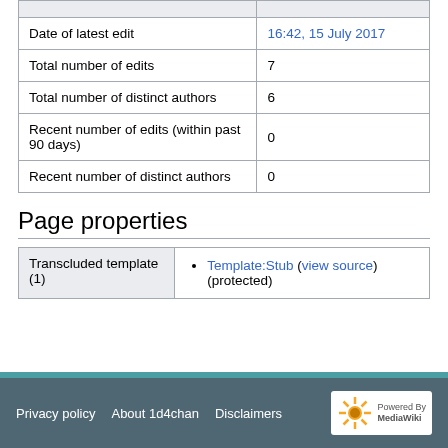|  |  |
| --- | --- |
| Date of latest edit | 16:42, 15 July 2017 |
| Total number of edits | 7 |
| Total number of distinct authors | 6 |
| Recent number of edits (within past 90 days) | 0 |
| Recent number of distinct authors | 0 |
Page properties
| Transcluded template (1) | Template:Stub (view source) (protected) |
Privacy policy   About 1d4chan   Disclaimers